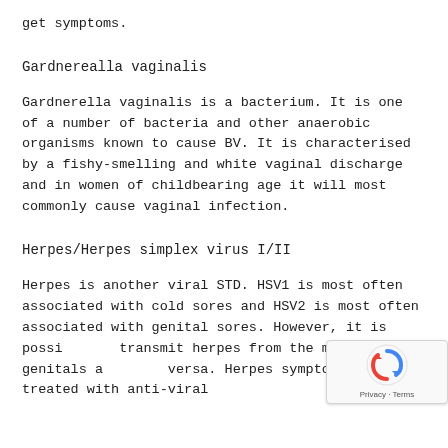get symptoms.
Gardnerealla vaginalis
Gardnerella vaginalis is a bacterium. It is one of a number of bacteria and other anaerobic organisms known to cause BV. It is characterised by a fishy-smelling and white vaginal discharge and in women of childbearing age it will most commonly cause vaginal infection.
Herpes/Herpes simplex virus I/II
Herpes is another viral STD. HSV1 is most often associated with cold sores and HSV2 is most often associated with genital sores. However, it is possible to transmit herpes from the mouth to the genitals and vice versa. Herpes symptoms can be treated with anti-viral